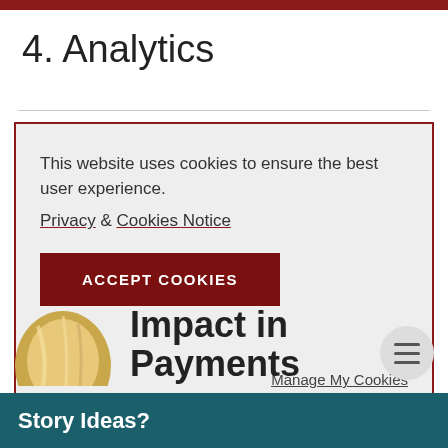4. Analytics
This website uses cookies to ensure the best user experience.
Privacy & Cookies Notice
ACCEPT COOKIES
Manage My Cookies
Impact in
Payments
Story Ideas?